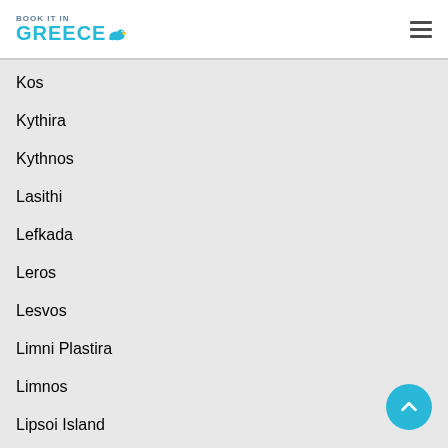BOOK IT IN GREECE
Kos
Kythira
Kythnos
Lasithi
Lefkada
Leros
Lesvos
Limni Plastira
Limnos
Lipsoi Island
Meganisi
Messinia
Milos